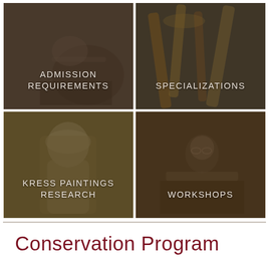[Figure (infographic): 2x2 grid of four image tiles with overlaid text labels: 'ADMISSION REQUIREMENTS' (top-left), 'SPECIALIZATIONS' (top-right), 'KRESS PAINTINGS RESEARCH' (bottom-left), 'WORKSHOPS' (bottom-right). Each tile shows a darkened photo background with white uppercase text.]
Conservation Program